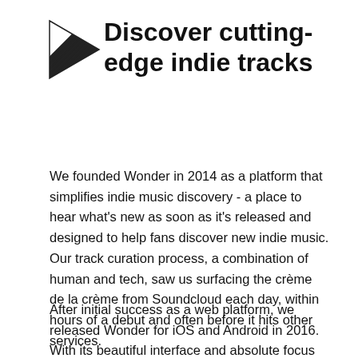[Figure (logo): Diagonal striped triangular/chevron logo mark in black and white]
Discover cutting-edge indie tracks
We founded Wonder in 2014 as a platform that simplifies indie music discovery - a place to hear what's new as soon as it's released and designed to help fans discover new indie music. Our track curation process, a combination of human and tech, saw us surfacing the crème de la crème from Soundcloud each day, within hours of a debut and often before it hits other services.
After initial success as a web platform, we released Wonder for iOS and Android in 2016. With its beautiful interface and absolute focus on exposing